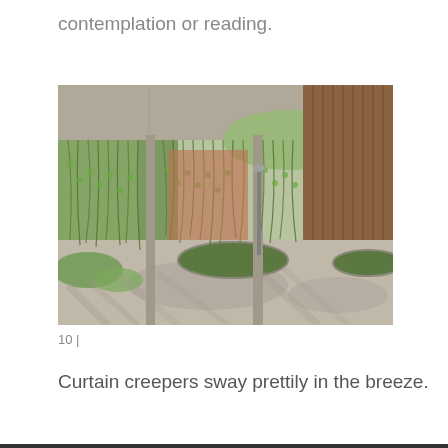contemplation or reading.
[Figure (photo): A covered outdoor walkway/corridor with lush hanging curtain creepers cascading from the ceiling. The space features concrete columns, circular grass cutouts in the paved floor, and wooden slat walls on the right side. Green vegetation and trees are visible in the background through the open side.]
10 |
Curtain creepers sway prettily in the breeze.